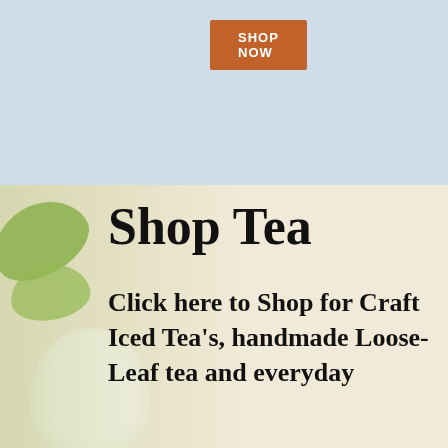[Figure (screenshot): Top banner section with light blue-grey background containing an orange 'SHOP NOW' button]
SHOP NOW
[Figure (photo): Background photo of green tea leaves and a white teacup with warm cream/beige tones]
Shop Tea
Click here to Shop for Craft Iced Tea's, handmade Loose-Leaf tea and everyday